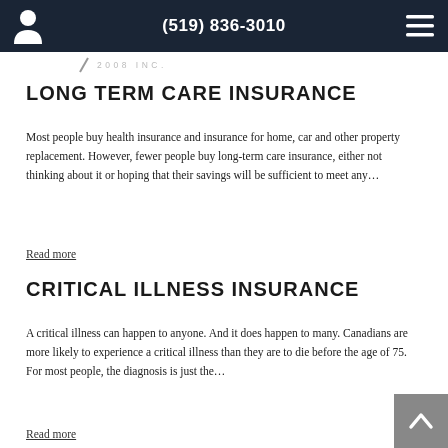(519) 836-3010
[Figure (logo): Company logo with pencil icon and text '2008 INC.']
LONG TERM CARE INSURANCE
Most people buy health insurance and insurance for home, car and other property replacement. However, fewer people buy long-term care insurance, either not thinking about it or hoping that their savings will be sufficient to meet any…
Read more
CRITICAL ILLNESS INSURANCE
A critical illness can happen to anyone. And it does happen to many. Canadians are more likely to experience a critical illness than they are to die before the age of 75. For most people, the diagnosis is just the…
Read more